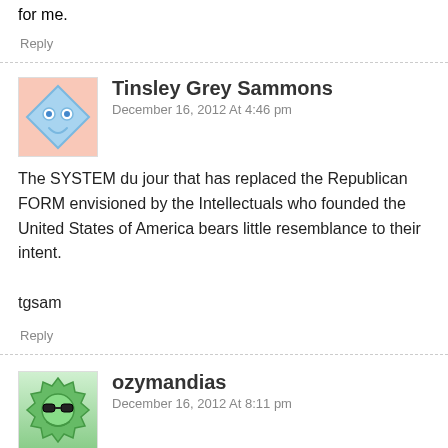for me.
Reply
Tinsley Grey Sammons
December 16, 2012 At 4:46 pm
The SYSTEM du jour that has replaced the Republican FORM envisioned by the Intellectuals who founded the United States of America bears little resemblance to their intent.
tgsam
Reply
ozymandias
December 16, 2012 At 8:11 pm
“The Intellectuals”? Capitalized? Really? Would you capitalize “maestro”, too (greenspan)? Because that’s the sort of intellectual, aka white collar